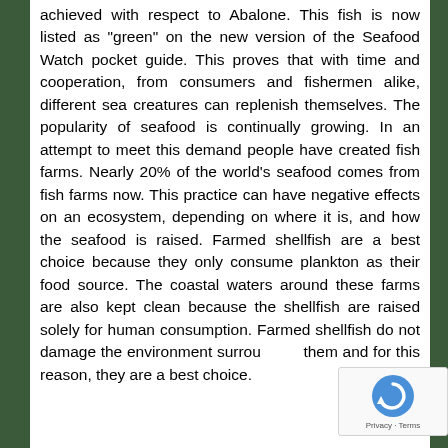achieved with respect to Abalone. This fish is now listed as "green" on the new version of the Seafood Watch pocket guide. This proves that with time and cooperation, from consumers and fishermen alike, different sea creatures can replenish themselves. The popularity of seafood is continually growing. In an attempt to meet this demand people have created fish farms. Nearly 20% of the world's seafood comes from fish farms now. This practice can have negative effects on an ecosystem, depending on where it is, and how the seafood is raised. Farmed shellfish are a best choice because they only consume plankton as their food source. The coastal waters around these farms are also kept clean because the shellfish are raised solely for human consumption. Farmed shellfish do not damage the environment surrounding them and for this reason, they are a best choice.
[Figure (other): reCAPTCHA badge with Privacy and Terms links]